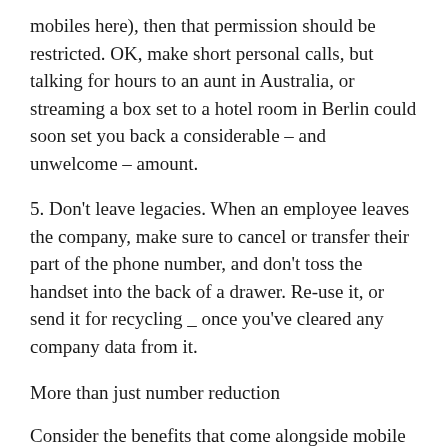mobiles here), then that permission should be restricted. OK, make short personal calls, but talking for hours to an aunt in Australia, or streaming a box set to a hotel room in Berlin could soon set you back a considerable – and unwelcome – amount.
5. Don't leave legacies. When an employee leaves the company, make sure to cancel or transfer their part of the phone number, and don't toss the handset into the back of a drawer. Re-use it, or send it for recycling _ once you've cleared any company data from it.
More than just number reduction
Consider the benefits that come alongside mobile phone use, and blurring the distinction between company and private life. When you've automated your expenses by implementing a solution based on business expense